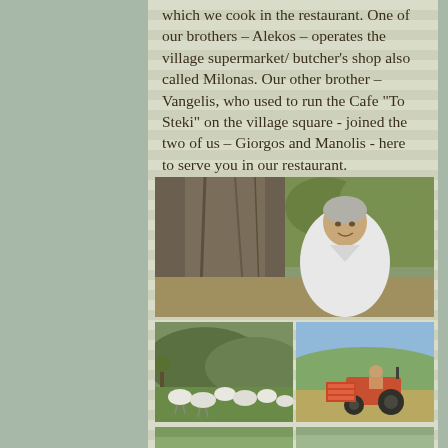which we cook in the restaurant. One of our brothers – Alekos – operates the village supermarket/ butcher's shop also called Milonas. Our other brother – Vangelis, who used to run the Cafe "To Steki" on the village square - joined the two of us – Giorgos and Manolis - here to serve you in our restaurant.
[Figure (photo): Elderly woman smiling, seated outdoors in front of a large olive tree trunk]
[Figure (photo): A flock of sheep grazing on green grass in a rural landscape with mountains in background]
[Figure (photo): A person riding a tractor loaded with crates in an open field under blue sky]
[Figure (photo): Partial bottom row photos — cut off at page edge]